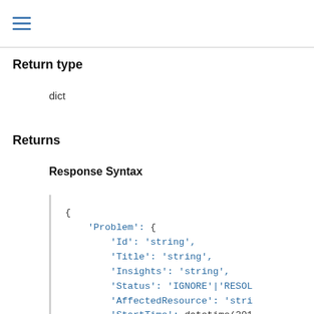≡
Return type
dict
Returns
Response Syntax
{
    'Problem': {
        'Id': 'string',
        'Title': 'string',
        'Insights': 'string',
        'Status': 'IGNORE'|'RESOL
        'AffectedResource': 'stri
        'StartTime': datetime(201
        'EndTime': datetime(2015,
        'SeverityLevel': 'Low'|'M
        'ResourceGroupName': 'str
        'Feedback': {
            'string': 'NOT_SPECIF
        }
    }
}